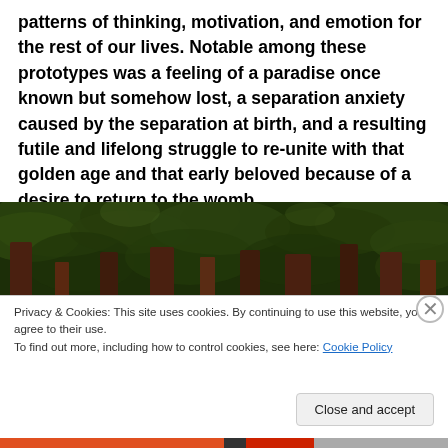patterns of thinking, motivation, and emotion for the rest of our lives. Notable among these prototypes was a feeling of a paradise once known but somehow lost, a separation anxiety caused by the separation at birth, and a resulting futile and lifelong struggle to re-unite with that golden age and that early beloved because of a desire to return to the womb.
[Figure (photo): Dark forest photo showing tall trees with green foliage, dimly lit, reddish-brown tree trunks visible.]
Privacy & Cookies: This site uses cookies. By continuing to use this website, you agree to their use.
To find out more, including how to control cookies, see here: Cookie Policy